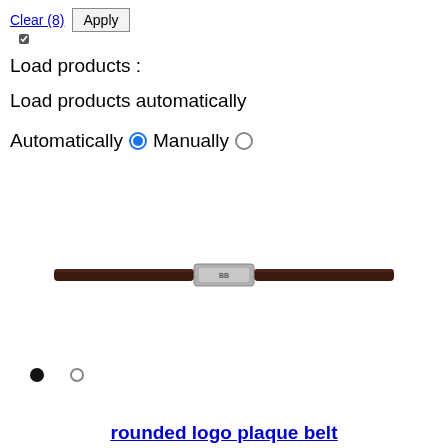Clear (8)
Apply
Load products :
Load products automatically
Automatically   Manually
[Figure (photo): A dark brown leather belt with a silver rectangular logo buckle, shown horizontally centered]
rounded logo plaque belt